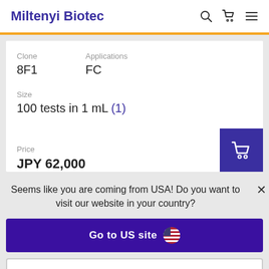Miltenyi Biotec
Clone
8F1
Applications
FC
Size
100 tests in 1 mL (1)
Price
JPY 62,000
Seems like you are coming from USA! Do you want to visit our website in your country?
Go to US site
Stay on Japanese site